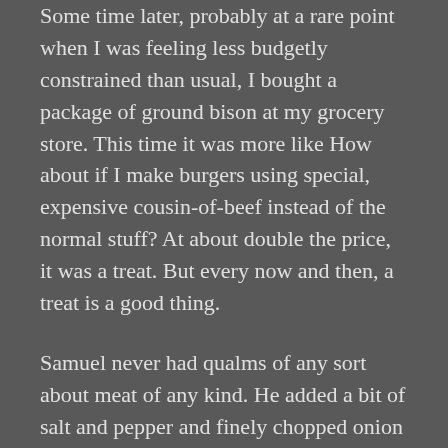Some time later, probably at a rare point when I was feeling less budgetly constrained than usual, I bought a package of ground bison at my grocery store. This time it was more like How about if I make burgers using special, expensive cousin-of-beef instead of the normal stuff? At about double the price, it was a treat. But every now and then, a treat is a good thing.
Samuel never had qualms of any sort about meat of any kind. He added a bit of salt and pepper and finely chopped onion to the meat before forming the patties, then grilled them. If you have never had a bison burger and can manage the scruple, try one sometime. The burgers were amazing – more tender than regular beef, remarkably tender, and had a wonderful flavor, though similar enough to beef for non-adventurous sorts like me. I was sold. A few more times in the last couple years,